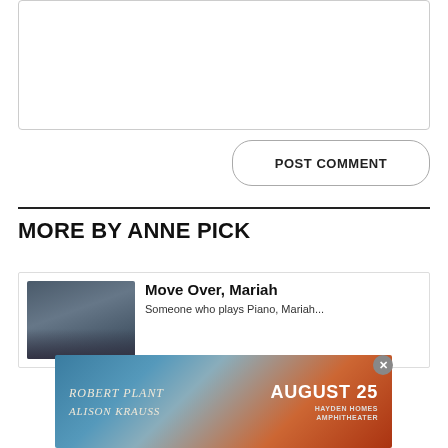[Figure (other): Comment text input box (empty)]
[Figure (other): POST COMMENT button with rounded border]
MORE BY ANNE PICK
[Figure (other): Article card with thumbnail photo (pier/band image) and title 'Move Over, Mariah']
[Figure (other): Advertisement overlay: Robert Plant / Alison Krauss, August 25, Hayden Homes Amphitheater]